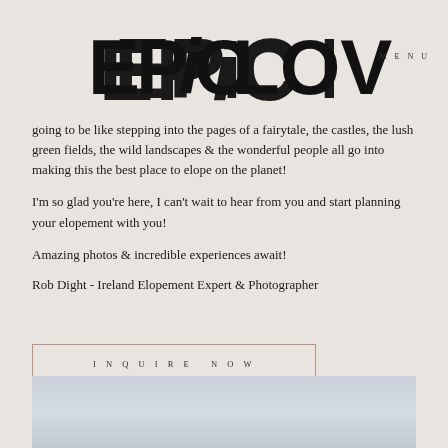EPIC LOVE
MENU
going to be like stepping into the pages of a fairytale, the castles, the lush green fields, the wild landscapes & the wonderful people all go into making this the best place to elope on the planet!
I'm so glad you're here, I can't wait to hear from you and start planning your elopement with you!
Amazing photos & incredible experiences await!
Rob Dight - Ireland Elopement Expert & Photographer
INQUIRE NOW
[Figure (photo): A light grey/blue gradient landscape photo at the bottom of the page, partially cropped]